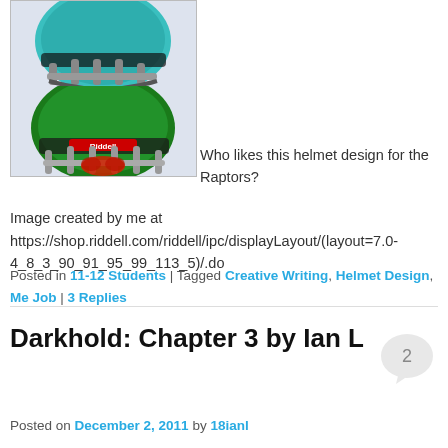[Figure (photo): Two Riddell football helmets shown stacked; top one is teal/green and bottom one is solid green with Riddell branding and red facemask accents]
Who likes this helmet design for the Raptors?
Image created by me at https://shop.riddell.com/riddell/ipc/displayLayout/(layout=7.0-4_8_3_90_91_95_99_113_5)/.do
Posted in 11-12 Students | Tagged Creative Writing, Helmet Design, Me Job | 3 Replies
Darkhold: Chapter 3 by Ian L
Posted on December 2, 2011 by 18ianl